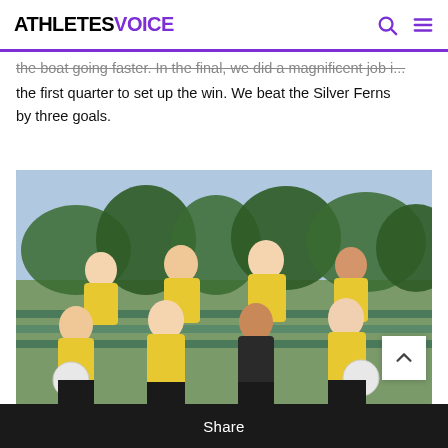ATHLETESVOICE
the boat going faster. In the final, we did a magnificent job in the first quarter to set up the win. We beat the Silver Ferns by three goals.
[Figure (photo): Group photo of 8 women in yellow and teal Australian netball uniforms sitting and standing on bleachers, holding netballs, smiling at camera outdoors]
Share